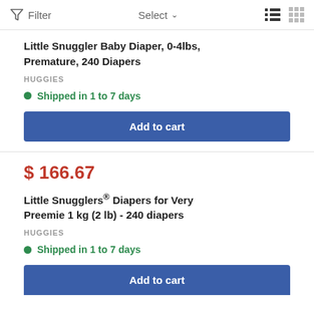Filter   Select   [list icon] [grid icon]
Little Snuggler Baby Diaper, 0-4lbs, Premature, 240 Diapers
HUGGIES
Shipped in 1 to 7 days
Add to cart
$ 166.67
Little Snugglers® Diapers for Very Preemie 1 kg (2 lb) - 240 diapers
HUGGIES
Shipped in 1 to 7 days
Add to cart